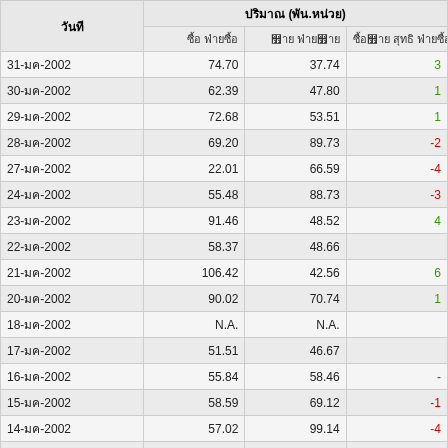| วันที่ | ปริมาณ (พัน.หน่วย) ซื้อ ฝ่ายซื้อ | ขาย ฝ่ายขาย | ซื้อขาย สุทธิ ฝ่ายซื้อขาย |
| --- | --- | --- | --- |
| 31-มค-2002 | 74.70 | 37.74 | 3 |
| 30-มค-2002 | 62.39 | 47.80 | 1 |
| 29-มค-2002 | 72.68 | 53.51 | 1 |
| 28-มค-2002 | 69.20 | 89.73 | -2 |
| 27-มค-2002 | 22.01 | 66.59 | -4 |
| 24-มค-2002 | 55.48 | 88.73 | -3 |
| 23-มค-2002 | 91.46 | 48.52 | 4 |
| 22-มค-2002 | 58.37 | 48.66 |  |
| 21-มค-2002 | 106.42 | 42.56 | 6 |
| 20-มค-2002 | 90.02 | 70.74 | 1 |
| 18-มค-2002 | N.A. | N.A. |  |
| 17-มค-2002 | 51.51 | 46.67 |  |
| 16-มค-2002 | 55.84 | 58.46 | - |
| 15-มค-2002 | 58.59 | 69.12 | -1 |
| 14-มค-2002 | 57.02 | 99.14 | -4 |
| 13-มค-2002 | 75.50 | 84.07 | - |
| 11-มค-2002 | N.A. | N.A. |  |
| 10-มค-2002 | 35.99 | 100.18 | -6 |
| 09-มค-2002 | 59.17 | 115.64 | -5 |
| 08-มค-2002 | 78.20 | 79.44 | - |